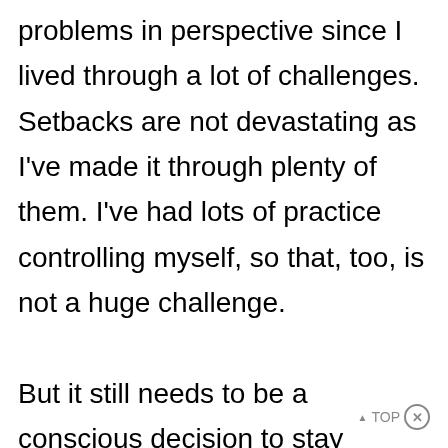problems in perspective since I lived through a lot of challenges. Setbacks are not devastating as I've made it through plenty of them. I've had lots of practice controlling myself, so that, too, is not a huge challenge.

But it still needs to be a conscious decision to stay emotionally healthy. Sharing my burden is healthy… with a trusted and empathetic friend. Journaling to get my real feelings on paper is cathartic. Going on long walks alone gives